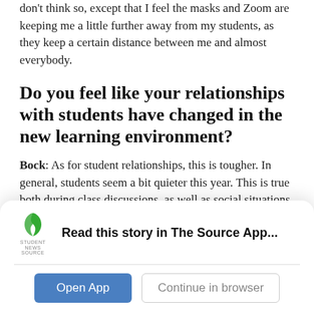don't think so, except that I feel the masks and Zoom are keeping me a little further away from my students, as they keep a certain distance between me and almost everybody.
Do you feel like your relationships with students have changed in the new learning environment?
Bock: As for student relationships, this is tougher. In general, students seem a bit quieter this year. This is true both during class discussions, as well as social situations such as waiting in line, lunch, etc.
[Figure (screenshot): App banner overlay with Student News Source logo, 'Read this story in The Source App...' text, and two buttons: 'Open App' (blue) and 'Continue in browser' (outlined)]